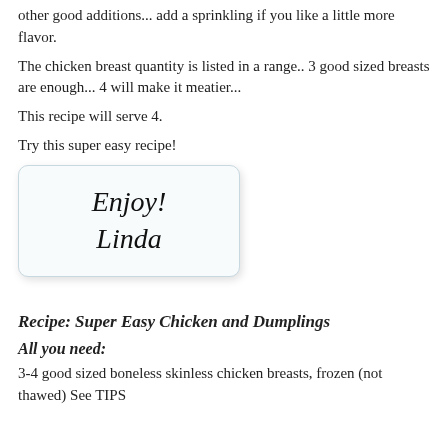other good additions... add a sprinkling if you like a little more flavor.
The chicken breast quantity is listed in a range.. 3 good sized breasts are enough... 4 will make it meatier...
This recipe will serve 4.
Try this super easy recipe!
[Figure (illustration): A rounded rectangle card with handwritten-style text reading 'Enjoy! Linda']
Recipe:  Super Easy Chicken and Dumplings
All you need:
3-4 good sized boneless skinless chicken breasts, frozen (not thawed) See TIPS